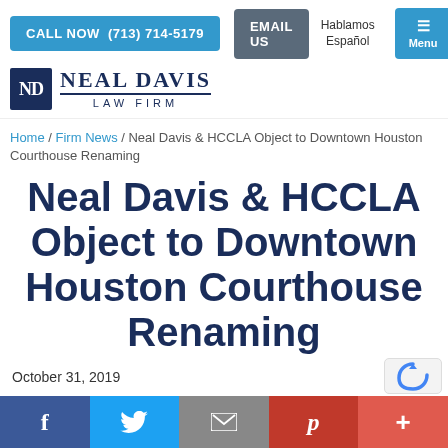CALL NOW (713) 714-5179 | EMAIL US | Hablamos Español | Menu
[Figure (logo): Neal Davis Law Firm logo with ND monogram box]
Home / Firm News / Neal Davis & HCCLA Object to Downtown Houston Courthouse Renaming
Neal Davis & HCCLA Object to Downtown Houston Courthouse Renaming
October 31, 2019
Facebook | Twitter | Email | Pinterest | More